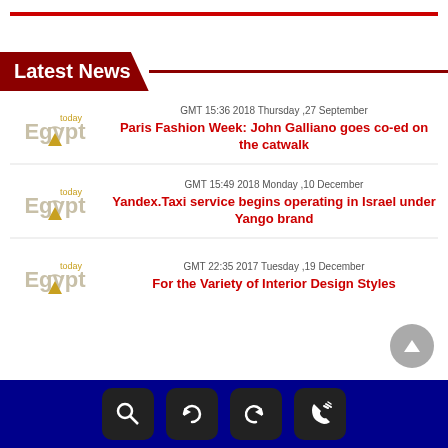Latest News
[Figure (logo): Egypt Today logo]
GMT 15:36 2018 Thursday ,27 September
Paris Fashion Week: John Galliano goes co-ed on the catwalk
[Figure (logo): Egypt Today logo]
GMT 15:49 2018 Monday ,10 December
Yandex.Taxi service begins operating in Israel under Yango brand
[Figure (logo): Egypt Today logo]
GMT 22:35 2017 Tuesday ,19 December
For the Variety of Interior Design Styles
Navigation bar with search, refresh, back, and call icons